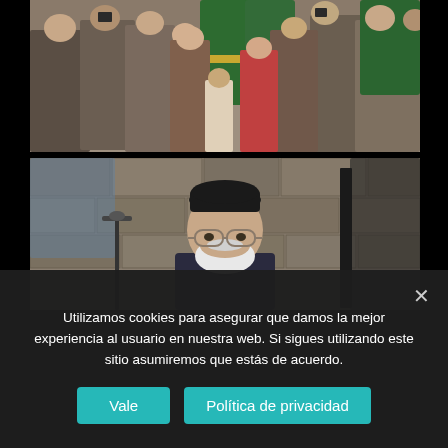[Figure (photo): Outdoor crowd scene with people watching a procession or ceremony. Several people in green ceremonial robes visible. People photographing with phones. Cobblestone plaza setting.]
[Figure (photo): Close-up of an elderly man wearing a black Islamic kufi cap, glasses, white beard, and dark suit, standing in front of a stone wall with a microphone stand nearby.]
Utilizamos cookies para asegurar que damos la mejor experiencia al usuario en nuestra web. Si sigues utilizando este sitio asumiremos que estás de acuerdo.
Vale
Política de privacidad